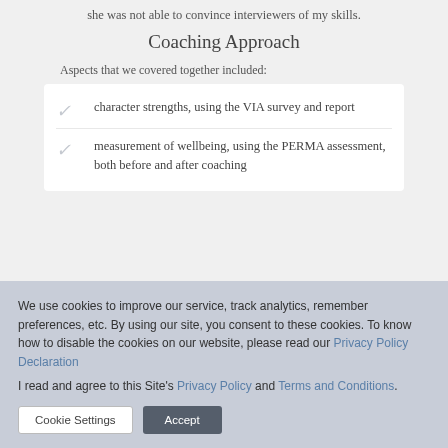she was not able to convince interviewers of my skills.
Coaching Approach
Aspects that we covered together included:
character strengths, using the VIA survey and report
measurement of wellbeing, using the PERMA assessment, both before and after coaching
We use cookies to improve our service, track analytics, remember preferences, etc. By using our site, you consent to these cookies. To know how to disable the cookies on our website, please read our Privacy Policy Declaration
I read and agree to this Site's Privacy Policy and Terms and Conditions.